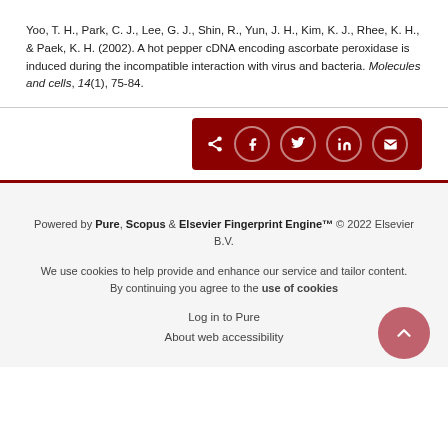Yoo, T. H., Park, C. J., Lee, G. J., Shin, R., Yun, J. H., Kim, K. J., Rhee, K. H., & Paek, K. H. (2002). A hot pepper cDNA encoding ascorbate peroxidase is induced during the incompatible interaction with virus and bacteria. Molecules and cells, 14(1), 75-84.
[Figure (other): Share buttons bar with Facebook, Twitter, LinkedIn, and Email icons on dark red background]
Powered by Pure, Scopus & Elsevier Fingerprint Engine™ © 2022 Elsevier B.V.
We use cookies to help provide and enhance our service and tailor content. By continuing you agree to the use of cookies
Log in to Pure
About web accessibility